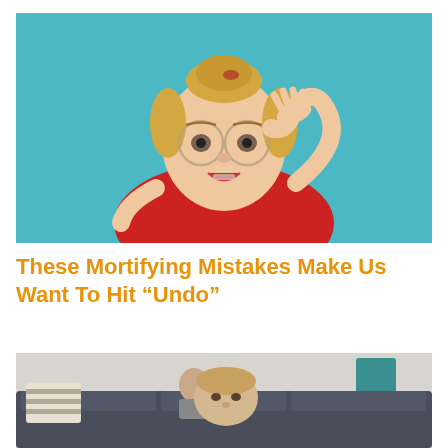[Figure (photo): Young blonde woman with hair in a bun, wearing round glasses and a red t-shirt, with hand raised to forehead in a face-palm or surprised gesture, against a teal/turquoise blue background]
These Mortifying Mistakes Make Us Want To Hit “Undo”
[Figure (photo): Interior living room scene showing a child peeking over the back of a dark grey sofa, with a woman sitting in the background near striped cushions, and a teal lamp visible]